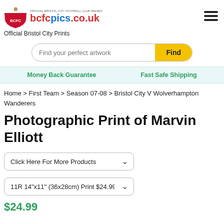[Figure (logo): Bristol City FC shield logo and bcfcpics.co.uk branding with tagline 'Official Bristol City Football Club Images']
Official Bristol City Prints
Find your perfect artwork   Find
Money Back Guarantee   Fast Safe Shipping
Home > First Team > Season 07-08 > Bristol City V Wolverhampton Wanderers
Photographic Print of Marvin Elliott
Click Here For More Products
11R 14"x11" (36x28cm) Print $24.99
$24.99